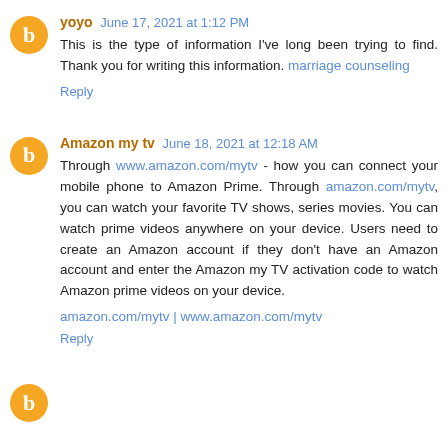yoyo  June 17, 2021 at 1:12 PM
This is the type of information I've long been trying to find. Thank you for writing this information. marriage counseling
Reply
Amazon my tv  June 18, 2021 at 12:18 AM
Through www.amazon.com/mytv - how you can connect your mobile phone to Amazon Prime. Through amazon.com/mytv, you can watch your favorite TV shows, series movies. You can watch prime videos anywhere on your device. Users need to create an Amazon account if they don't have an Amazon account and enter the Amazon my TV activation code to watch Amazon prime videos on your device.
amazon.com/mytv | www.amazon.com/mytv
Reply